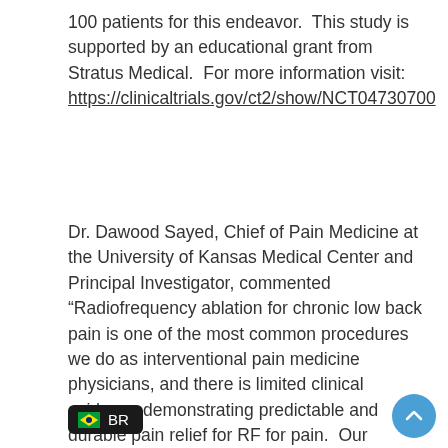100 patients for this endeavor.  This study is supported by an educational grant from Stratus Medical.  For more information visit: https://clinicaltrials.gov/ct2/show/NCT04730700
Dr. Dawood Sayed, Chief of Pain Medicine at the University of Kansas Medical Center and Principal Investigator, commented “Radiofrequency ablation for chronic low back pain is one of the most common procedures we do as interventional pain medicine physicians, and there is limited clinical evidence demonstrating predictable and durable pain relief for RF for pain.  Our hypothesis is that, due to the un… gn of Nimbus and the large volume